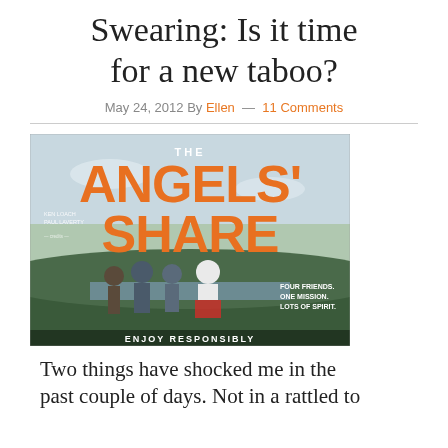Swearing: Is it time for a new taboo?
May 24, 2012 By Ellen — 11 Comments
[Figure (photo): Movie poster for 'The Angels' Share' showing four friends standing on a Scottish hillside with large orange text. Tagline: FOUR FRIENDS. ONE MISSION. LOTS OF SPIRIT. ENJOY RESPONSIBLY.]
Two things have shocked me in the past couple of days. Not in a rattled to